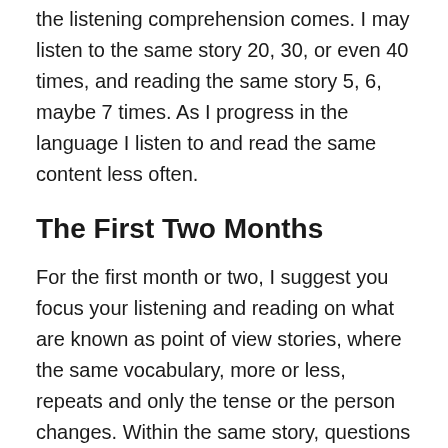the listening comprehension comes. I may listen to the same story 20, 30, or even 40 times, and reading the same story 5, 6, maybe 7 times. As I progress in the language I listen to and read the same content less often.
The First Two Months
For the first month or two, I suggest you focus your listening and reading on what are known as point of view stories, where the same vocabulary, more or less, repeats and only the tense or the person changes. Within the same story, questions are asked and answers provided, using the same vocabulary.
Since these stories focus on the most common verbs, adjectives and conjunctions or connection words and